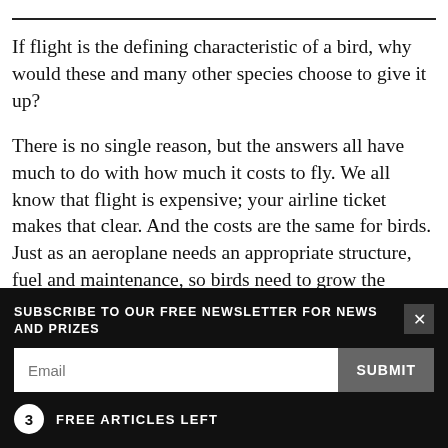If flight is the defining characteristic of a bird, why would these and many other species choose to give it up?
There is no single reason, but the answers all have much to do with how much it costs to fly. We all know that flight is expensive; your airline ticket makes that clear. And the costs are the same for birds. Just as an aeroplane needs an appropriate structure, fuel and maintenance, so birds need to grow the wings
SUBSCRIBE TO OUR FREE NEWSLETTER FOR NEWS AND PRIZES
3 FREE ARTICLES LEFT
Subscribe for £1 | Sign in